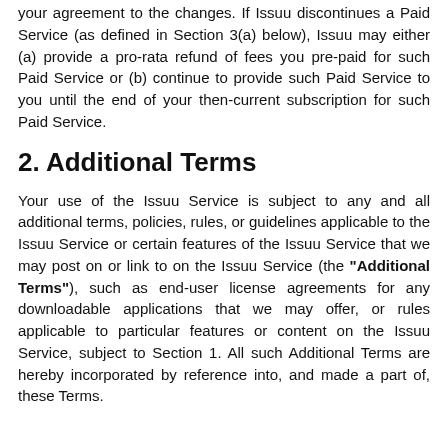your agreement to the changes. If Issuu discontinues a Paid Service (as defined in Section 3(a) below), Issuu may either (a) provide a pro-rata refund of fees you pre-paid for such Paid Service or (b) continue to provide such Paid Service to you until the end of your then-current subscription for such Paid Service.
2. Additional Terms
Your use of the Issuu Service is subject to any and all additional terms, policies, rules, or guidelines applicable to the Issuu Service or certain features of the Issuu Service that we may post on or link to on the Issuu Service (the "Additional Terms"), such as end-user license agreements for any downloadable applications that we may offer, or rules applicable to particular features or content on the Issuu Service, subject to Section 1. All such Additional Terms are hereby incorporated by reference into, and made a part of, these Terms.